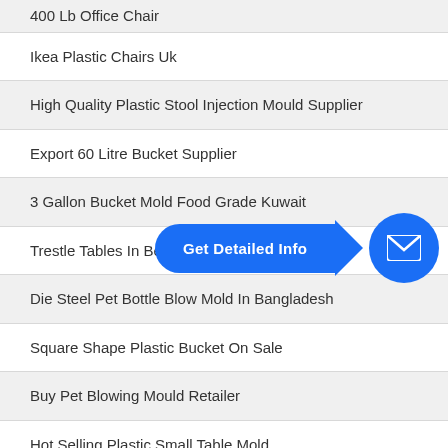400 Lb Office Chair
Ikea Plastic Chairs Uk
High Quality Plastic Stool Injection Mould Supplier
Export 60 Litre Bucket Supplier
3 Gallon Bucket Mold Food Grade Kuwait
Trestle Tables In Belarus
Die Steel Pet Bottle Blow Mold In Bangladesh
Square Shape Plastic Bucket On Sale
Buy Pet Blowing Mould Retailer
Hot Selling Plastic Small Table Mold